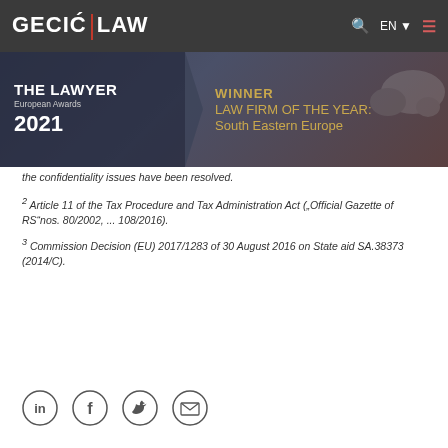[Figure (logo): GECIĆ LAW logo on dark navigation bar with search icon, EN language selector, and hamburger menu]
[Figure (photo): The Lawyer European Awards 2021 – Winner: Law Firm of the Year: South Eastern Europe award banner]
the confidentiality issues have been resolved.
2 Article 11 of the Tax Procedure and Tax Administration Act ("Official Gazette of RS" nos. 80/2002, ... 108/2016).
3 Commission Decision (EU) 2017/1283 of 30 August 2016 on State aid SA.38373 (2014/C).
[Figure (infographic): Social media icons: LinkedIn, Facebook, Twitter, Email]